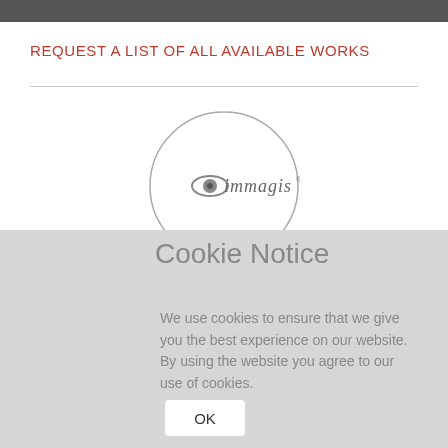REQUEST A LIST OF ALL AVAILABLE WORKS
[Figure (logo): Immagis logo inside a circle outline. The logo shows an eye-like graphic followed by the text 'immagis' in a stylized serif/italic font.]
Cookie Notice
We use cookies to ensure that we give you the best experience on our website. By using the website you agree to our use of cookies.
OK